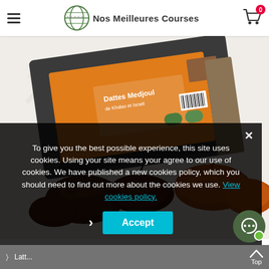Nos Meilleures Courses — navigation header with hamburger menu, logo, and cart icon showing 0 items
[Figure (photo): Box of Dattes Medjoul (Medjool dates) with orange label showing 'Dattes Medjoul' text and organic certification logos, alongside loose dark brown Medjool dates spilling out in front, on a light background with faint watermark illustrations]
To give you the best possible experience, this site uses cookies. Using your site means your agree to our use of cookies. We have published a new cookies policy, which you should need to find out more about the cookies we use. View cookies policy.
Left  |  Top